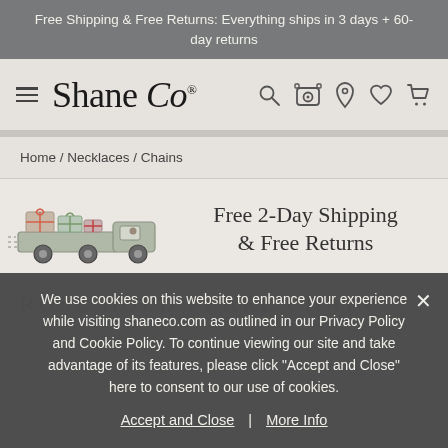Free Shipping & Free Returns: Everything ships in 3 days + 60-day returns
[Figure (logo): Shane Co. logo with hamburger menu icon and navigation icons (search, camera/ring scanner, location, heart/wishlist, cart)]
Home / Necklaces / Chains
[Figure (illustration): Illustration of a delivery truck loaded with gift boxes, promoting Free 2-Day Shipping & Free Returns]
ROSE GOLD PEARL CHAIN
We use cookies on this website to enhance your experience while visiting shaneco.com as outlined in our Privacy Policy and Cookie Policy. To continue viewing our site and take advantage of its features, please click "Accept and Close" here to consent to our use of cookies.
Accept and Close | More Info